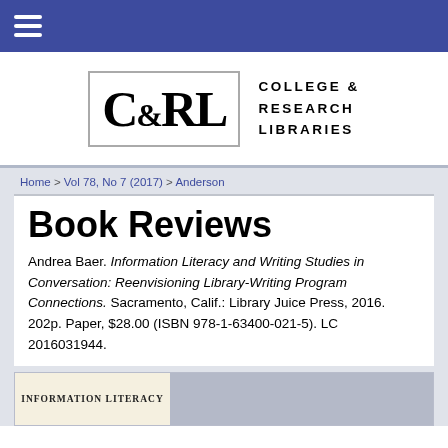C&RL — College & Research Libraries
Home > Vol 78, No 7 (2017) > Anderson
Book Reviews
Andrea Baer. Information Literacy and Writing Studies in Conversation: Reenvisioning Library-Writing Program Connections. Sacramento, Calif.: Library Juice Press, 2016. 202p. Paper, $28.00 (ISBN 978-1-63400-021-5). LC 2016031944.
[Figure (photo): Partial view of the book cover for Information Literacy and Writing Studies in Conversation]